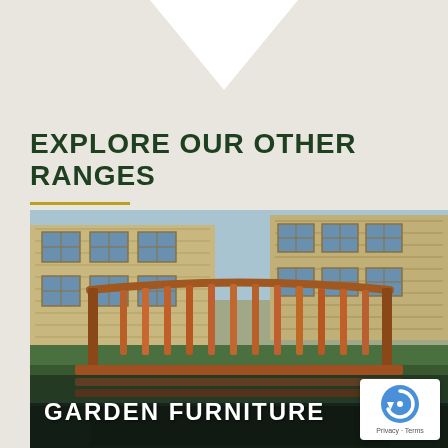[Figure (illustration): Decorative chevron/arrow shape pointing downward at top of page, beige background]
EXPLORE OUR OTHER RANGES
[Figure (photo): Outdoor wooden garden bench seat with slatted back, photographed from behind, with a blurred stone building with multiple windows in the background]
GARDEN FURNITURE
[Figure (logo): reCAPTCHA badge with circular arrow logo and Privacy - Terms text]